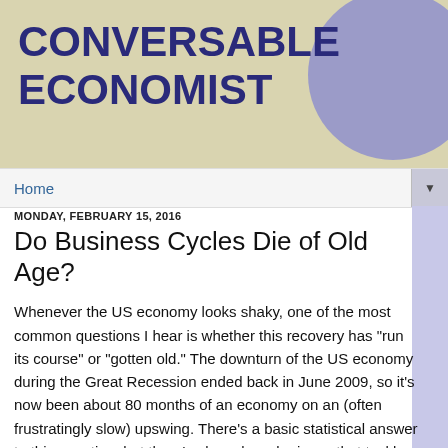CONVERSABLE ECONOMIST
Home
MONDAY, FEBRUARY 15, 2016
Do Business Cycles Die of Old Age?
Whenever the US economy looks shaky, one of the most common questions I hear is whether this recovery has "run its course" or "gotten old." The downturn of the US economy during the Great Recession ended back in June 2009, so it's now been about 80 months of an economy on an (often frustratingly slow) upswing. There's a basic statistical answer to this question, but there's also a broader issue that tackles of how to think about a "business cycle."